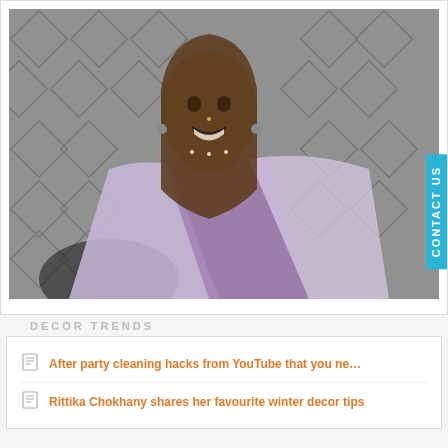[Figure (photo): Portrait photo of a smiling woman wearing a purple/white saree and silver choker necklace, seated in front of a geometric patterned background]
CONTACT US
DECOR TRENDS
After party cleaning hacks from YouTube that you ne…
Rittika Chokhany shares her favourite winter decor tips